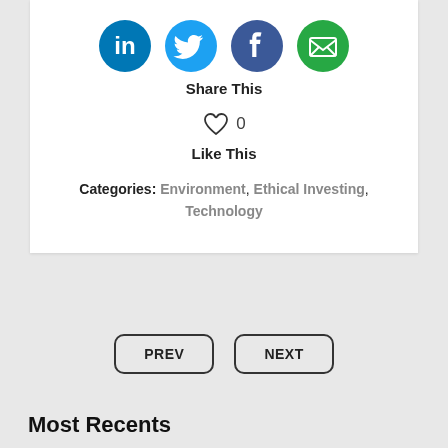[Figure (infographic): Four social media sharing icons in circles: LinkedIn (dark blue), Twitter (light blue), Facebook (dark blue/purple), Email (green with envelope)]
Share This
[Figure (infographic): Heart icon (outlined) with count 0 next to it]
Like This
Categories: Environment, Ethical Investing, Technology
PREV
NEXT
Most Recents